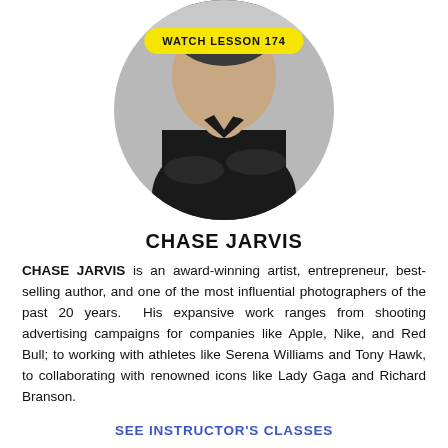[Figure (photo): Circular profile photo of Chase Jarvis, a man in a black shirt with arms crossed, on a grey background. A yellow pill-shaped badge overlays the photo reading 'WATCH LESSON 174'.]
CHASE JARVIS
CHASE JARVIS is an award-winning artist, entrepreneur, best-selling author, and one of the most influential photographers of the past 20 years.  His expansive work ranges from shooting advertising campaigns for companies like Apple, Nike, and Red Bull; to working with athletes like Serena Williams and Tony Hawk, to collaborating with renowned icons like Lady Gaga and Richard Branson.
SEE INSTRUCTOR'S CLASSES
RATINGS AND REVIEWS